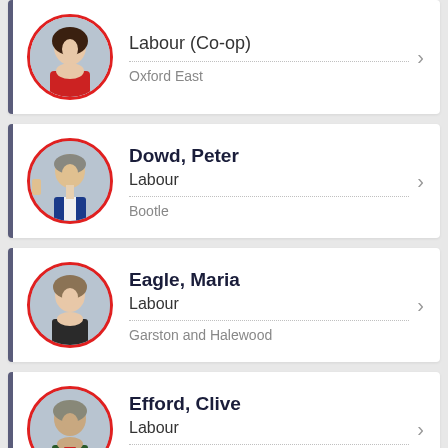Labour (Co-op) | Oxford East
Dowd, Peter | Labour | Bootle
Eagle, Maria | Labour | Garston and Halewood
Efford, Clive | Labour | Eltham